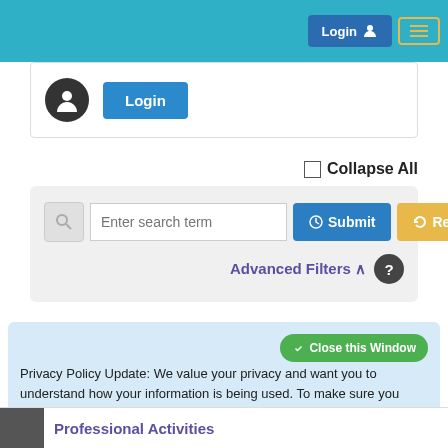[Figure (screenshot): Top teal navigation bar with Login button and hamburger menu button in top right]
[Figure (screenshot): Login card with dark avatar circle and blue Login button]
Collapse All
[Figure (screenshot): Search box with search icon, 'Enter search term' input, blue Submit button, yellow Reset button, and Advanced Filters link with help icon]
Privacy Policy Update: We value your privacy and want you to understand how your information is being used. To make sure you have current and accurate information about this sites privacy practices please visit the privacy center by clicking here.
Professional Activities